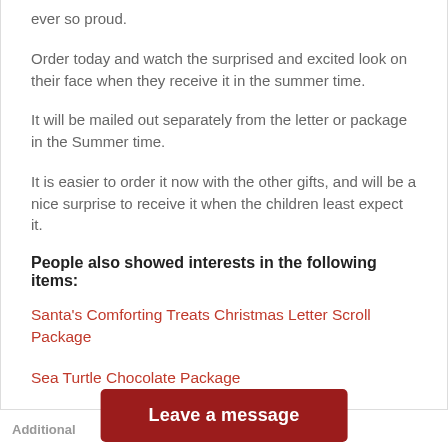ever so proud.
Order today and watch the surprised and excited look on their face when they receive it in the summer time.
It will be mailed out separately from the letter or package in the Summer time.
It is easier to order it now with the other gifts, and will be a nice surprise to receive it when the children least expect it.
People also showed interests in the following items:
Santa's Comforting Treats Christmas Letter Scroll Package
Sea Turtle Chocolate Package
Sesame Street Gift Set
Additional